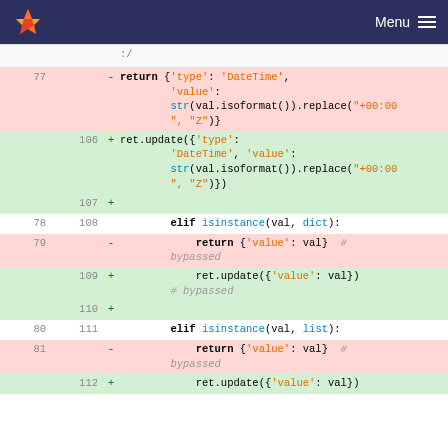GitLab Menu
[Figure (screenshot): Code diff view showing Python code changes. Lines 77-81 (old) and 106-112 (new) showing modifications to datetime serialization logic replacing return statements with ret.update() calls.]